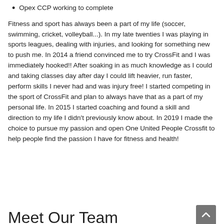Opex CCP working to complete
Fitness and sport has always been a part of my life (soccer, swimming, cricket, volleyball...). In my late twenties I was playing in sports leagues, dealing with injuries, and looking for something new to push me. In 2014 a friend convinced me to try CrossFit and I was immediately hooked!! After soaking in as much knowledge as I could and taking classes day after day I could lift heavier, run faster, perform skills I never had and was injury free! I started competing in the sport of CrossFit and plan to always have that as a part of my personal life. In 2015 I started coaching and found a skill and direction to my life I didn’t previously know about. In 2019 I made the choice to pursue my passion and open One United People Crossfit to help people find the passion I have for fitness and health!
Meet Our Team